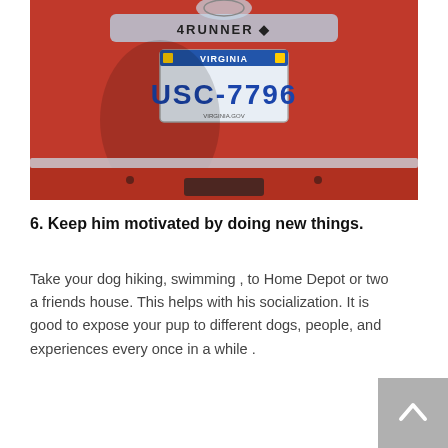[Figure (photo): Rear of a red Toyota 4Runner SUV showing the tailgate with the Toyota logo and '4RUNNER' badge, and a Virginia license plate reading 'USC-7796'.]
6. Keep him motivated by doing new things.
Take your dog hiking, swimming , to Home Depot or two a friends house. This helps with his socialization. It is good to expose your pup to different dogs, people, and experiences every once in a while .